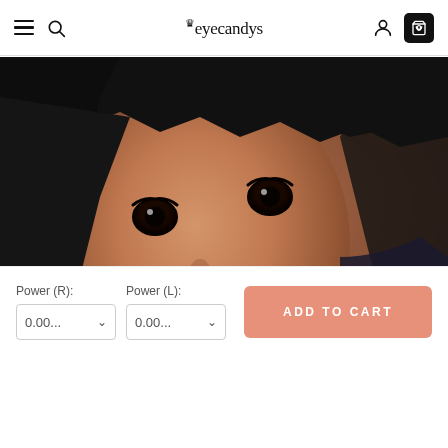eyecandys
[Figure (photo): Close-up selfie photo of a young woman wearing dark/black circle contact lenses, with black bangs hairstyle, pearl earrings, and tan skin tone.]
Power (R):
Power (L):
0.00...
0.00...
ADD TO CART